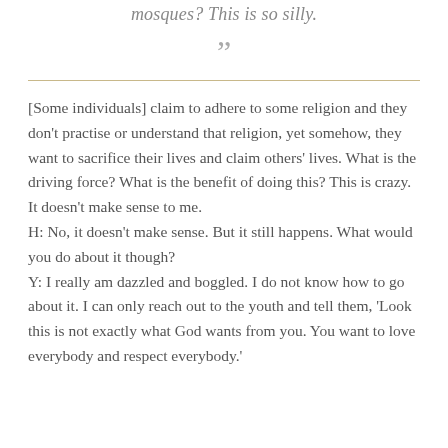mosques? This is so silly.
”
[Some individuals] claim to adhere to some religion and they don’t practise or understand that religion, yet somehow, they want to sacrifice their lives and claim others’ lives. What is the driving force? What is the benefit of doing this? This is crazy. It doesn’t make sense to me.
H: No, it doesn’t make sense. But it still happens. What would you do about it though?
Y: I really am dazzled and boggled. I do not know how to go about it. I can only reach out to the youth and tell them, ‘Look this is not exactly what God wants from you. You want to love everybody and respect everybody.'